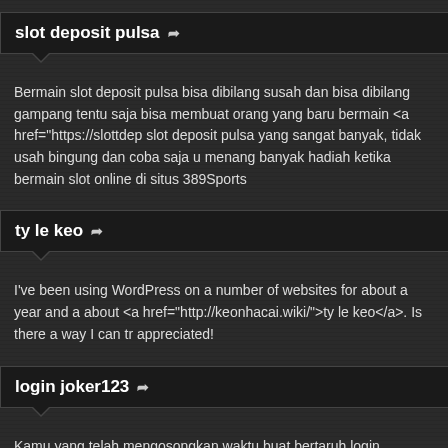slot deposit pulsa ➦
Bermain slot deposit pulsa bisa dibilang susah dan bisa dibilang gampang tentu saja bisa membuat orang yang baru bermain <a href="https://slottdep slot deposit pulsa yang sangat banyak, tidak usah bingung dan coba saja menang banyak hadiah ketika bermain slot online di situs 389Sports
ty le keo ➦
I've been using WordPress on a number of websites for about a year and about <a href="http://keonhacai.wiki/">ty le keo</a>. Is there a way I can tr appreciated!
login joker123 ➦
Kamu yang telah mengosongkan waktu buat bertaruh login joker123 nyata banyaknya tipe gambling online yang bisa dengan gampang diakses vi